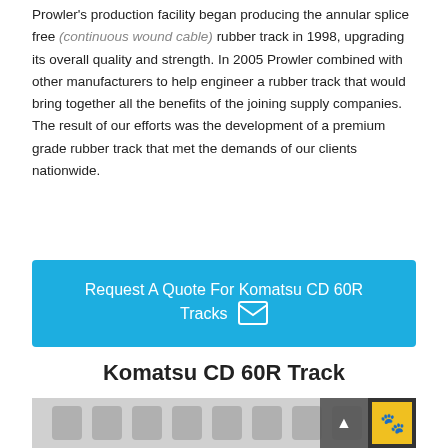Prowler's production facility began producing the annular splice free (continuous wound cable) rubber track in 1998, upgrading its overall quality and strength. In 2005 Prowler combined with other manufacturers to help engineer a rubber track that would bring together all the benefits of the joining supply companies. The result of our efforts was the development of a premium grade rubber track that met the demands of our clients nationwide.
Request A Quote For Komatsu CD 60R Tracks
Komatsu CD 60R Track
[Figure (photo): Rubber track product image for Komatsu CD 60R, shown partially at bottom of page with a dark badge/button in the lower right corner.]